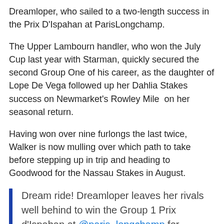Dreamloper, who sailed to a two-length success in the Prix D'Ispahan at ParisLongchamp.
The Upper Lambourn handler, who won the July Cup last year with Starman, quickly secured the second Group One of his career, as the daughter of Lope De Vega followed up her Dahlia Stakes success on Newmarket's Rowley Mile  on her seasonal return.
Having won over nine furlongs the last twice, Walker is now mulling over which path to take before stepping up in trip and heading to Goodwood for the Nassau Stakes in August.
Dream ride! Dreamloper leaves her rivals well behind to win the Group 1 Prix d'Ispahan at @paris_longchamp for @edwalkerracing and @KShoemark…